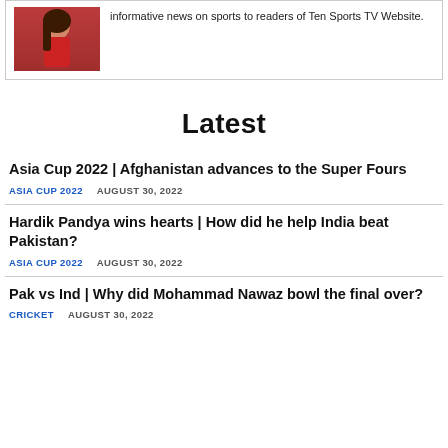informative news on sports to readers of Ten Sports TV Website.
Latest
Asia Cup 2022 | Afghanistan advances to the Super Fours
ASIA CUP 2022   AUGUST 30, 2022
Hardik Pandya wins hearts | How did he help India beat Pakistan?
ASIA CUP 2022   AUGUST 30, 2022
Pak vs Ind | Why did Mohammad Nawaz bowl the final over?
CRICKET   AUGUST 30, 2022